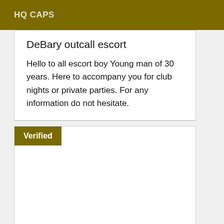HQ CAPS
DeBary outcall escort
Hello to all escort boy Young man of 30 years. Here to accompany you for club nights or private parties. For any information do not hesitate.
Verified